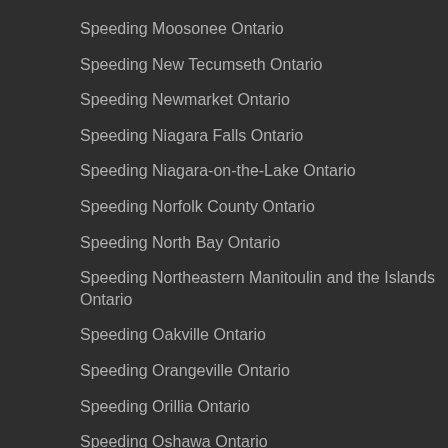Speeding Moosonee Ontario
Speeding New Tecumseth Ontario
Speeding Newmarket Ontario
Speeding Niagara Falls Ontario
Speeding Niagara-on-the-Lake Ontario
Speeding Norfolk County Ontario
Speeding North Bay Ontario
Speeding Northeastern Manitoulin and the Islands Ontario
Speeding Oakville Ontario
Speeding Orangeville Ontario
Speeding Orillia Ontario
Speeding Oshawa Ontario
Speeding Ottawa Ontario